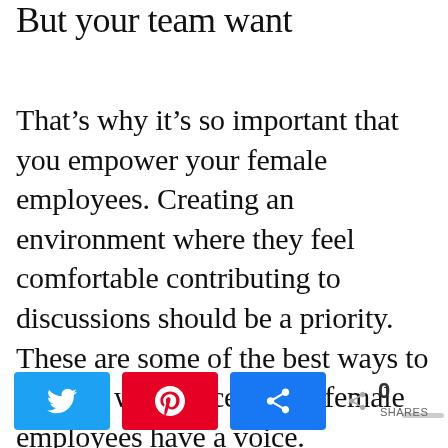But your team want
That’s why it’s so important that you empower your female employees. Creating an environment where they feel comfortable contributing to discussions should be a priority. These are some of the best ways to create a workplace where female employees have a voice.
0 SHARES — social share bar with Twitter, Pinterest, and Share buttons